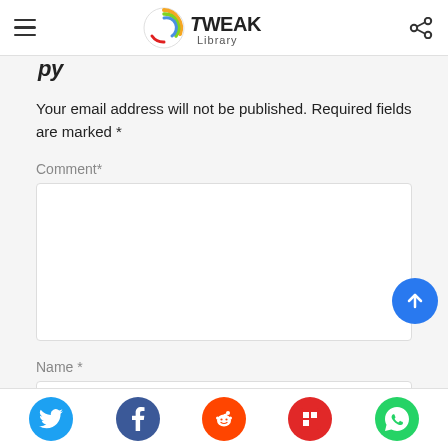Tweak Library
Your email address will not be published. Required fields are marked *
Comment*
[Figure (screenshot): Comment text input box (empty, white background with rounded border)]
Name *
[Figure (screenshot): Name text input box (empty, white background with rounded border)]
Social share buttons: Twitter, Facebook, Reddit, Flipboard, WhatsApp